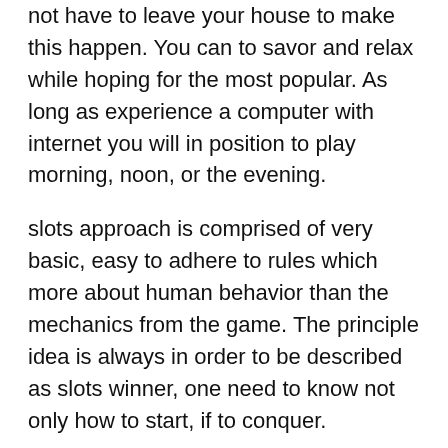not have to leave your house to make this happen. You can to savor and relax while hoping for the most popular. As long as experience a computer with internet you will in position to play morning, noon, or the evening.
slots approach is comprised of very basic, easy to adhere to rules which more about human behavior than the mechanics from the game. The principle idea is always in order to be described as slots winner, one need to know not only how to start, if to conquer.
Ruby in order to roll out the red carpet for all VIP bettors. This is considered the crown jewel of gaming with 5 amounts of VIP benefits to reach. From low ranking visit https://167.172.7.58/  to a very high the VIP ladder is comprised of Level 1 Opal, Level 2 Sapphire, Level 3 Diamond, Level 4 Emerald and Level 5 Ruby. Reaching different levels depends on how much you play and